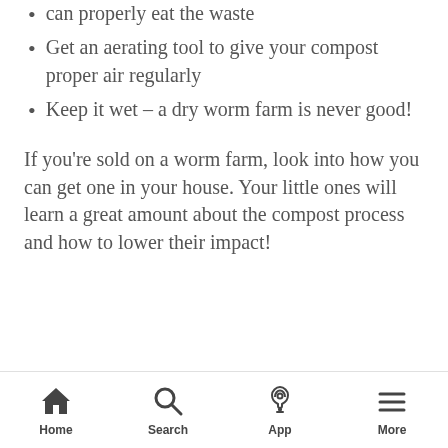can properly eat the waste
Get an aerating tool to give your compost proper air regularly
Keep it wet – a dry worm farm is never good!
If you're sold on a worm farm, look into how you can get one in your house. Your little ones will learn a great amount about the compost process and how to lower their impact!
Home  Search  App  More